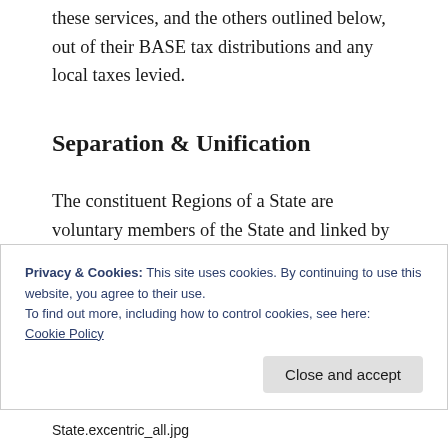these services, and the others outlined below, out of their BASE tax distributions and any local taxes levied.
Separation & Unification
The constituent Regions of a State are voluntary members of the State and linked by geographic proximity. Regions can elect to change their affiliation between States, so long as they have geographic continuity with
Privacy & Cookies: This site uses cookies. By continuing to use this website, you agree to their use.
To find out more, including how to control cookies, see here:
Cookie Policy
State.excentric_all.jpg